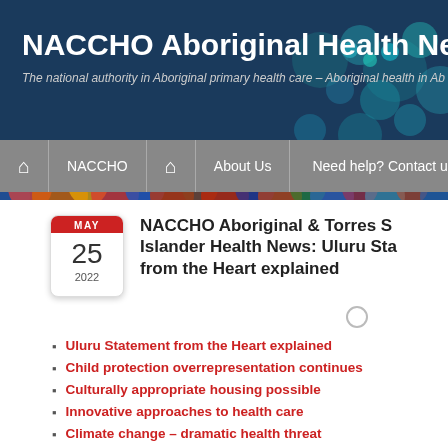NACCHO Aboriginal Health News Al
The national authority in Aboriginal primary health care – Aboriginal health in Ab
NACCHO Aboriginal & Torres Strait Islander Health News: Uluru Statement from the Heart explained
Uluru Statement from the Heart explained
Child protection overrepresentation continues
Culturally appropriate housing possible
Innovative approaches to health care
Climate change – dramatic health threat
Book your flu shot without delay